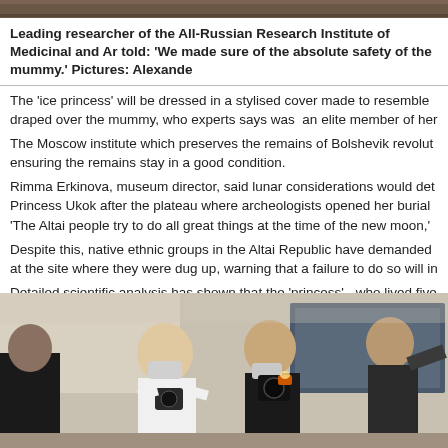[Figure (photo): Top portion of a photo, cropped, showing an indoor scene.]
Leading researcher of the All-Russian Research Institute of Medicinal and Ar told: 'We made sure of the absolute safety of the mummy.' Pictures: Alexande
The 'ice princess' will be dressed in a stylised cover made to resemble draped over the mummy, who experts says was  an elite member of her
The Moscow institute which preserves the remains of Bolshevik revolut ensuring the remains stay in a good condition.
Rimma Erkinova, museum director, said lunar considerations would det Princess Ukok after the plateau where archeologists opened her burial 'The Altai people try to do all great things at the time of the new moon,'
Despite this, native ethnic groups in the Altai Republic have demanded at the site where they were dug up, warning that a failure to do so will in
Detailed scientific analysis has shown that the 'princess' - who lived five died from breast cancer, and that her illness may have caused a fall, pr health problems. She is believed to have taken cannabis to ease her su
[Figure (photo): Photographers and journalists with cameras and masks at an indoor press event.]